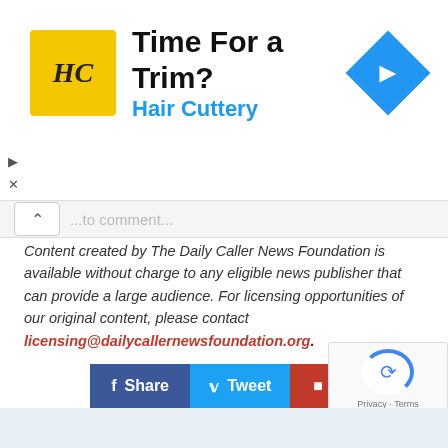[Figure (infographic): Hair Cuttery advertisement banner with yellow HC logo, 'Time For a Trim?' headline, 'Hair Cuttery' subtitle in blue, and a blue navigation diamond icon on the right]
Content created by The Daily Caller News Foundation is available without charge to any eligible news publisher that can provide a large audience. For licensing opportunities of our original content, please contact licensing@dailycallernewsfoundation.org.
[Figure (infographic): Social share buttons: Facebook Share (blue), Twitter Tweet (light blue), Flipboard Flip (red), and a plus button (gray)]
Posted in: Unyielding
Tagged: campaign donations, James Murdoch, joe biden, Quadrivium Foundation, Rupert Murdoch